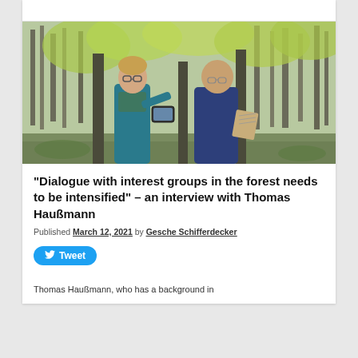[Figure (photo): Two men standing in a forest, one younger with glasses pointing at a tablet device, one older bald man holding a document/map, both wearing jackets. Forest background with green and bare trees.]
“Dialogue with interest groups in the forest needs to be intensified” – an interview with Thomas Haußmann
Published March 12, 2021 by Gesche Schifferdecker
Tweet
Thomas Haußmann, who has a background in